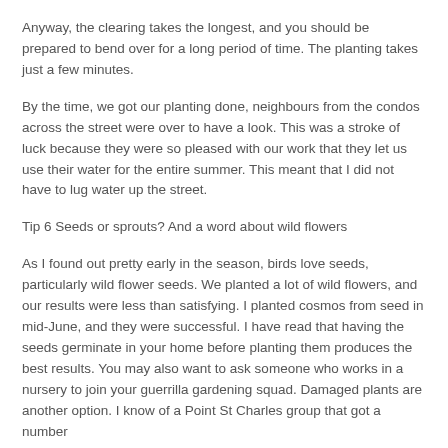Anyway, the clearing takes the longest, and you should be prepared to bend over for a long period of time. The planting takes just a few minutes.
By the time, we got our planting done, neighbours from the condos across the street were over to have a look. This was a stroke of luck because they were so pleased with our work that they let us use their water for the entire summer. This meant that I did not have to lug water up the street.
Tip 6 Seeds or sprouts? And a word about wild flowers
As I found out pretty early in the season, birds love seeds, particularly wild flower seeds. We planted a lot of wild flowers, and our results were less than satisfying. I planted cosmos from seed in mid-June, and they were successful. I have read that having the seeds germinate in your home before planting them produces the best results. You may also want to ask someone who works in a nursery to join your guerrilla gardening squad. Damaged plants are another option. I know of a Point St Charles group that got a number